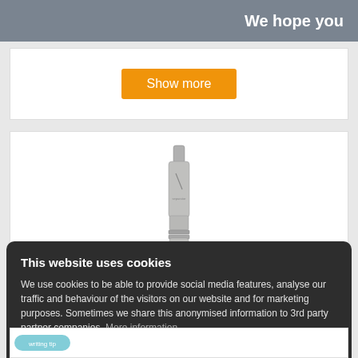We hope you
[Figure (other): Orange 'Show more' button on white card background]
[Figure (photo): Photo of a metallic cylindrical pen or tool component on white background]
This website uses cookies
We use cookies to be able to provide social media features, analyse our traffic and behaviour of the visitors on our website and for marketing purposes. Sometimes we share this anonymised information to 3rd party partner companies. More information
I accept all Cookies
Change settings